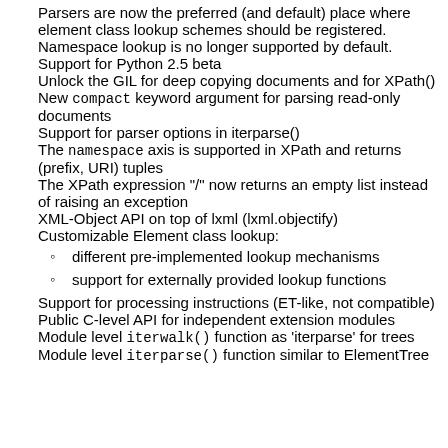Parsers are now the preferred (and default) place where element class lookup schemes should be registered. Namespace lookup is no longer supported by default.
Support for Python 2.5 beta
Unlock the GIL for deep copying documents and for XPath()
New compact keyword argument for parsing read-only documents
Support for parser options in iterparse()
The namespace axis is supported in XPath and returns (prefix, URI) tuples
The XPath expression "/" now returns an empty list instead of raising an exception
XML-Object API on top of lxml (lxml.objectify)
Customizable Element class lookup: different pre-implemented lookup mechanisms; support for externally provided lookup functions
Support for processing instructions (ET-like, not compatible)
Public C-level API for independent extension modules
Module level iterwalk() function as 'iterparse' for trees
Module level iterparse() function similar to ElementTree